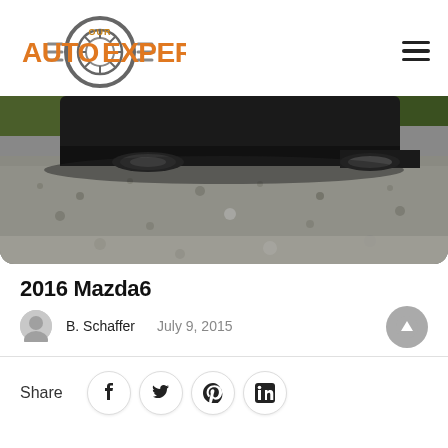[Figure (logo): Our Auto Expert logo with orange text and grey gear/wheel graphic]
[Figure (photo): Photo of a dark car (Mazda6) from rear low angle on a gravel/asphalt road]
2016 Mazda6
B. Schaffer   July 9, 2015
Share